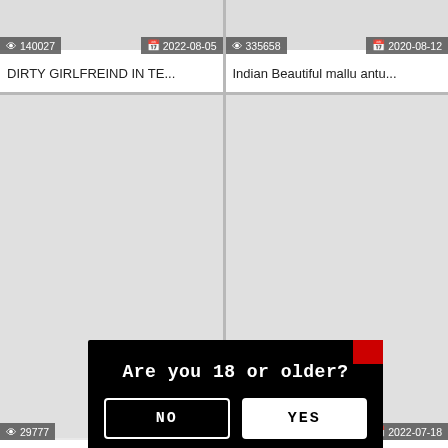[Figure (screenshot): Video thumbnail grid showing adult content website with age verification modal overlay. Top row: two video cards with view counts (140027, 335658) and dates (2022-08-05, 2020-08-12) and titles 'DIRTY GIRLFREIND IN TE...' and 'Indian Beautiful mallu antu...'. Middle row: two large video thumbnail placeholders. Third row: two video cards with counts (29777, 173721) and dates (2022-07-20, 2022-07-18) and titles 'Indian Desi Indian college ...' and 'PHOTOSHOOT KORNE AY...'. Bottom row: partial cards with count 361977 and title 'hindu m...' and date 20-08-15. Overlaid black modal dialog asking 'Are you 18 or older?' with NO and YES buttons and a red close button.]